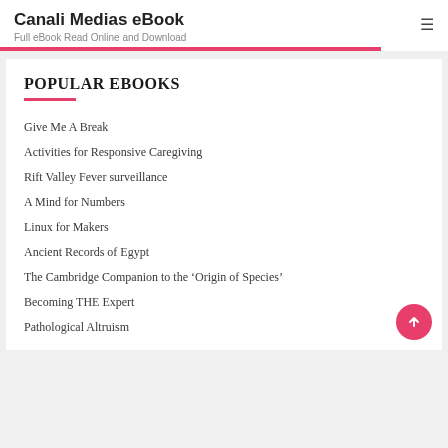Canali Medias eBook
Full eBook Read Online and Download
POPULAR EBOOKS
Give Me A Break
Activities for Responsive Caregiving
Rift Valley Fever surveillance
A Mind for Numbers
Linux for Makers
Ancient Records of Egypt
The Cambridge Companion to the ‘Origin of Species’
Becoming THE Expert
Pathological Altruism